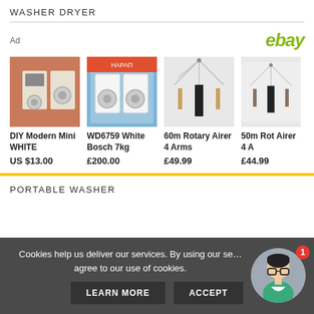WASHER DRYER
[Figure (infographic): eBay advertisement banner showing 4 products: DIY Modern Mini WHITE (US $13.00), WD6759 White Bosch 7kg (£200.00), 60m Rotary Airer 4 Arms (£49.99), 50m Rotary Airer 4 Arms (£44.99), with eBay logo top right]
PORTABLE WASHER
Cookies help us deliver our services. By using our services, you agree to our use of cookies.
LEARN MORE  ACCEPT